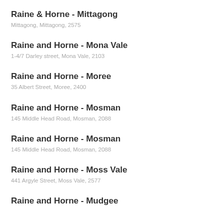Raine & Horne - Mittagong
Mittagong, Mittagong, 2575
Raine and Horne - Mona Vale
1-4/7 Darley street, Mona Vale, 2103
Raine and Horne - Moree
35 Albert Street, Moree, 2400
Raine and Horne - Mosman
145 Middle Head Road, Mosman, 2088
Raine and Horne - Mosman
145 Middle Head Road, Mosman, 2088
Raine and Horne - Moss Vale
441 Argyle Street, Moss Vale, 2577
Raine and Horne - Mudgee